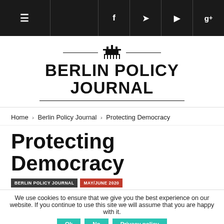≡  f  Twitter  ▶  g+
[Figure (logo): Berlin Policy Journal logo with Brandenburg Gate icon and horizontal lines]
Home › Berlin Policy Journal › Protecting Democracy
Protecting Democracy
BERLIN POLICY JOURNAL   MAY/JUNE 2020
We use cookies to ensure that we give you the best experience on our website. If you continue to use this site we will assume that you are happy with it.
JAN SUROTCHAK   DANIEL TWINING , APRIL 28, 2...   SHARE
Just as COVID-19 presents a threat to public health, China's and Russia's authoritarianism presents a